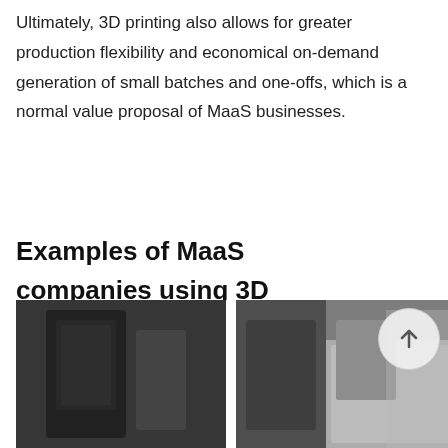Ultimately, 3D printing also allows for greater production flexibility and economical on-demand generation of small batches and one-offs, which is a normal value proposal of MaaS businesses.
Examples of MaaS companies using 3D printing
[Figure (photo): Two photos side by side: left shows a dark 3D printing machine, right shows a person working at a desk with equipment in the background.]